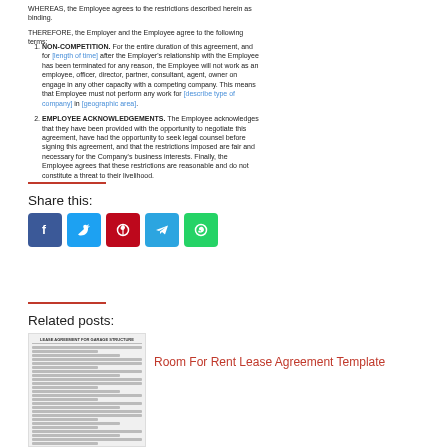WHEREAS, the Employee agrees to the restrictions described herein as binding.
THEREFORE, the Employer and the Employee agree to the following terms:
NON-COMPETITION. For the entire duration of this agreement, and for [length of time] after the Employer's relationship with the Employee has been terminated for any reason, the Employee will not work as an employee, officer, director, partner, consultant, agent, owner on engage in any other capacity with a competing company. This means that Employee must not perform any work for [describe type of company] in [geographic area].
EMPLOYEE ACKNOWLEDGEMENTS. The Employee acknowledges that they have been provided with the opportunity to negotiate this agreement, have had the opportunity to seek legal counsel before signing this agreement, and that the restrictions imposed are fair and necessary for the Company's business interests. Finally, the Employee agrees that these restrictions are reasonable and do not constitute a threat to their livelihood.
Share this:
[Figure (infographic): Social share buttons: Facebook, Twitter, Pinterest, Telegram, WhatsApp]
Related posts:
[Figure (photo): Thumbnail image of a Room For Rent Lease Agreement document]
Room For Rent Lease Agreement Template